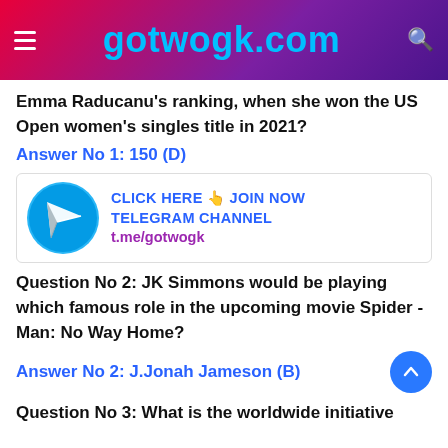gotwogk.com
Emma Raducanu’s ranking, when she won the US Open women’s singles title in 2021?
Answer No 1: 150 (D)
[Figure (infographic): Telegram channel promotional banner with Telegram logo and text: CLICK HERE 👍 JOIN NOW TELEGRAM CHANNEL t.me/gotwogk]
Question No 2: JK Simmons would be playing which famous role in the upcoming movie Spider -Man: No Way Home?
Answer No 2: J.Jonah Jameson (B)
Question No 3: What is the worldwide initiative